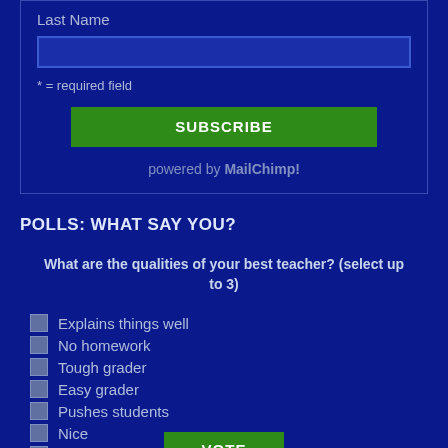Last Name
* = required field
SUBSCRIBE
powered by MailChimp!
POLLS: WHAT SAY YOU?
What are the qualities of your best teacher? (select up to 3)
Explains things well
No homework
Tough grader
Easy grader
Pushes students
Nice
Disciplinarian
VOTE